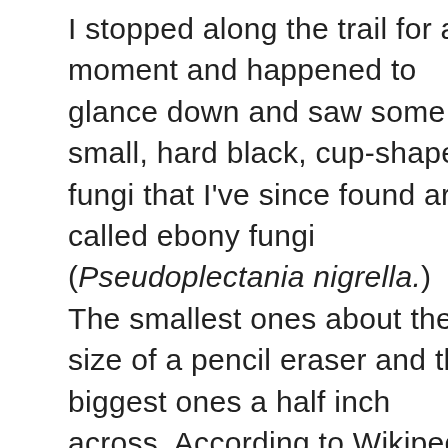I stopped along the trail for a moment and happened to glance down and saw some small, hard black, cup-shaped fungi that I've since found are called ebony cup fungi (Pseudoplectania nigrella.) The smallest ones were about the size of a pencil eraser and the biggest were about a half inch across. According to Wikipedia they tend to grow in groups on soil, often amongst pine needles or short grass near coniferous trees, and that was exactly the situation here except for mosses instead of grass. Wikipedia also says that they have a worldwide distribution, but are hard to see because of their small size and dark color. I wondered how many times I had walked by them without seeing them. It was just lucky that I saw them on this day.